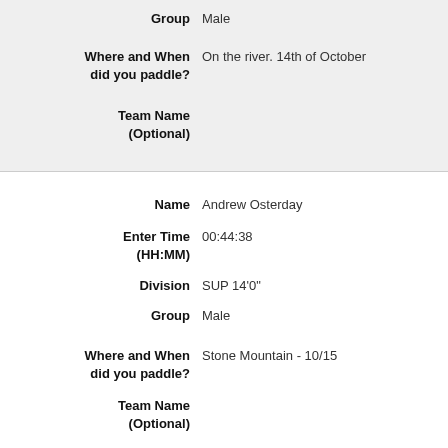Group  Male
Where and When did you paddle?  On the river. 14th of October
Team Name (Optional)
Name  Andrew Osterday
Enter Time (HH:MM)  00:44:38
Division  SUP 14'0"
Group  Male
Where and When did you paddle?  Stone Mountain - 10/15
Team Name (Optional)